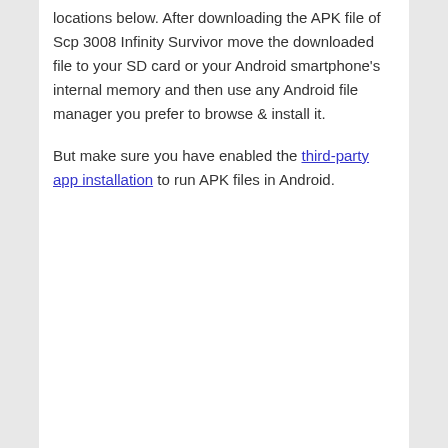locations below. After downloading the APK file of Scp 3008 Infinity Survivor move the downloaded file to your SD card or your Android smartphone's internal memory and then use any Android file manager you prefer to browse & install it.
But make sure you have enabled the third-party app installation to run APK files in Android.